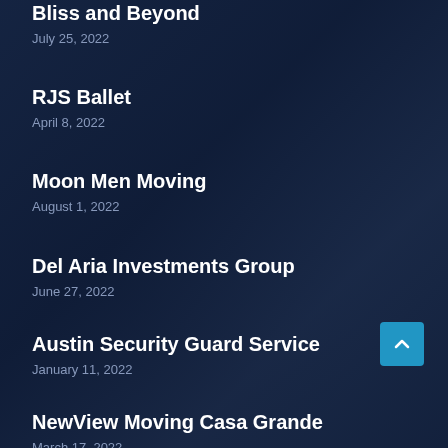Bliss and Beyond
July 25, 2022
RJS Ballet
April 8, 2022
Moon Men Moving
August 1, 2022
Del Aria Investments Group
June 27, 2022
Austin Security Guard Service
January 11, 2022
NewView Moving Casa Grande
March 17, 2022